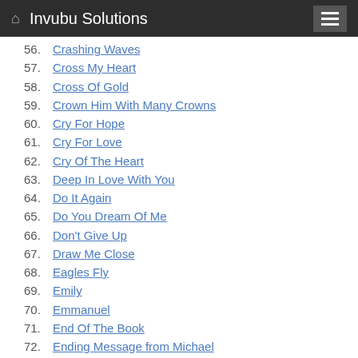Invubu Solutions
56. Crashing Waves
57. Cross My Heart
58. Cross Of Gold
59. Crown Him With Many Crowns
60. Cry For Hope
61. Cry For Love
62. Cry Of The Heart
63. Deep In Love With You
64. Do It Again
65. Do You Dream Of Me
66. Don't Give Up
67. Draw Me Close
68. Eagles Fly
69. Emily
70. Emmanuel
71. End Of The Book
72. Ending Message from Michael
73. Escape Your Love